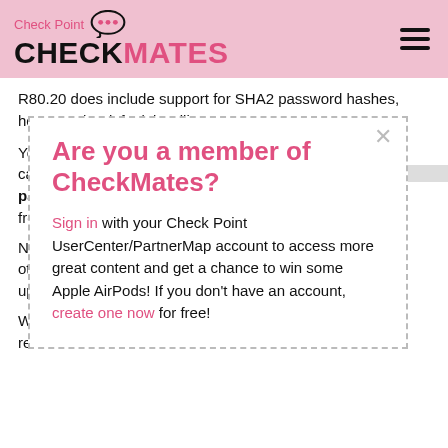Check Point CHECKMATES
R80.20 does include support for SHA2 password hashes, however the default is still MD5.
You ca...ls passw... from...
Note... other... upda...
We do... relea...
[Figure (screenshot): Modal dialog overlay with dashed border containing the text 'Are you a member of CheckMates?' with sign-in prompt and close button.]
If you have been given letters of intent on specific issues that have not been resolved, I recommend you follow up